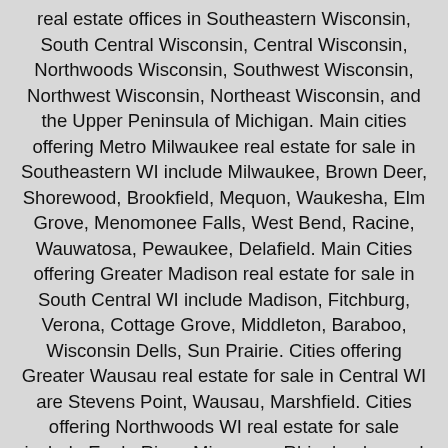real estate offices in Southeastern Wisconsin, South Central Wisconsin, Central Wisconsin, Northwoods Wisconsin, Southwest Wisconsin, Northwest Wisconsin, Northeast Wisconsin, and the Upper Peninsula of Michigan. Main cities offering Metro Milwaukee real estate for sale in Southeastern WI include Milwaukee, Brown Deer, Shorewood, Brookfield, Mequon, Waukesha, Elm Grove, Menomonee Falls, West Bend, Racine, Wauwatosa, Pewaukee, Delafield. Main Cities offering Greater Madison real estate for sale in South Central WI include Madison, Fitchburg, Verona, Cottage Grove, Middleton, Baraboo, Wisconsin Dells, Sun Prairie. Cities offering Greater Wausau real estate for sale in Central WI are Stevens Point, Wausau, Marshfield. Cities offering Northwoods WI real estate for sale include Eagle River, Minocqua, Rhinelander, and Land O' Lakes in the Michigan UP. Southwest WI includes real estate for sale in Platteville, Spring Green and Richland Center, Mineral Point. Cities offering real estate for sale in Northeast WI includes Appleton, Neenah, Oshkosh, Wautoma, Waupaca and Fond du Lac.